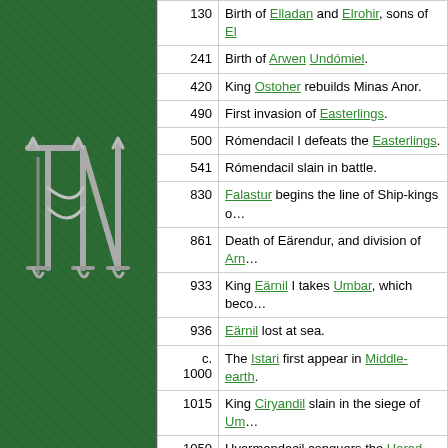[Figure (logo): Decorative grey gothic monogram logo (intertwined letters) on dark green textured background]
| Year | Event |
| --- | --- |
| 130 | Birth of Elladan and Elrohir, sons of El… |
| 241 | Birth of Arwen Undómiel. |
| 420 | King Ostoher rebuilds Minas Anor. |
| 490 | First invasion of Easterlings. |
| 500 | Rómendacil I defeats the Easterlings. |
| 541 | Rómendacil slain in battle. |
| 830 | Falastur begins the line of Ship-kings o… |
| 861 | Death of Eärendur, and division of Arn… |
| 933 | King Eärnil I takes Umbar, which beco… |
| 936 | Eärnil lost at sea. |
| c. 1000 | The Istari first appear in Middle-earth. |
| 1015 | King Ciryandil slain in the siege of Um… |
| 1050 | Hyarmendacil conquers the Harad. Go… shadow falls on Greenwood, and men… mentioned in records, with the coming… |
| c. 1100 | The Wise (the Istari and the chief Elda… Guldur. It is thought to be one of the N… |
| 1149 | Reign of Atanatar Alcarin begins. |
| c. 1150 | The Fallohides enter Eriador. The Stoo… to Dunland. |